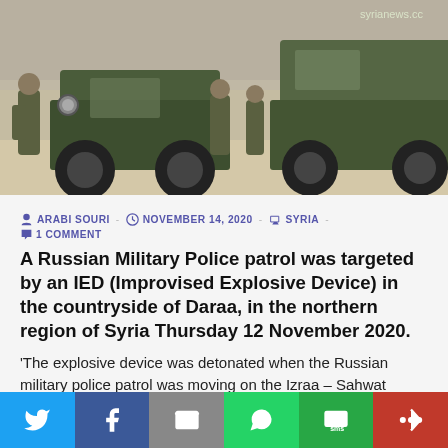[Figure (photo): Military vehicles and soldiers in a desert/arid environment. Green military trucks/jeeps visible with soldiers standing nearby. Watermark: syrianews.cc]
ARABI SOURI - NOVEMBER 14, 2020 - SYRIA - 1 COMMENT
A Russian Military Police patrol was targeted by an IED (Improvised Explosive Device) in the countryside of Daraa, in the northern region of Syria Thursday 12 November 2020.
'The explosive device was detonated when the Russian military police patrol was moving on the Izraa – Sahwat